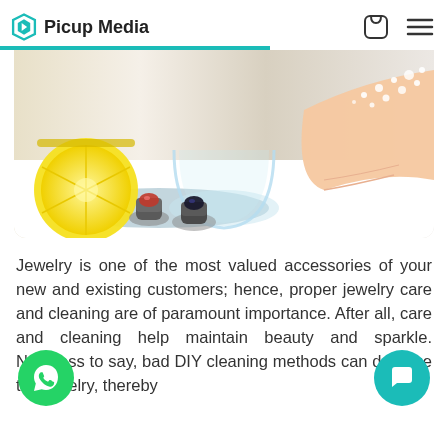Picup Media
[Figure (photo): Photo of jewelry rings, a halved lemon, a glass bowl, and a hand with sparkly crystals — jewelry cleaning concept]
Jewelry is one of the most valued accessories of your new and existing customers; hence, proper jewelry care and cleaning are of paramount importance. After all, care and cleaning help maintain beauty and sparkle. Needless to say, bad DIY cleaning methods can damage the jewelry, thereby...